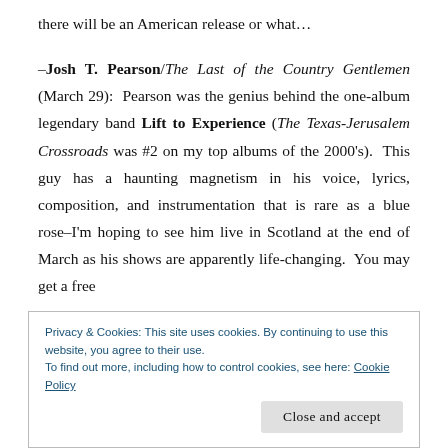there will be an American release or what...
-Josh T. Pearson/The Last of the Country Gentlemen (March 29): Pearson was the genius behind the one-album legendary band Lift to Experience (The Texas-Jerusalem Crossroads was #2 on my top albums of the 2000's). This guy has a haunting magnetism in his voice, lyrics, composition, and instrumentation that is rare as a blue rose-I'm hoping to see him live in Scotland at the end of March as his shows are apparently life-changing. You may get a free
Privacy & Cookies: This site uses cookies. By continuing to use this website, you agree to their use.
To find out more, including how to control cookies, see here: Cookie Policy
Close and accept